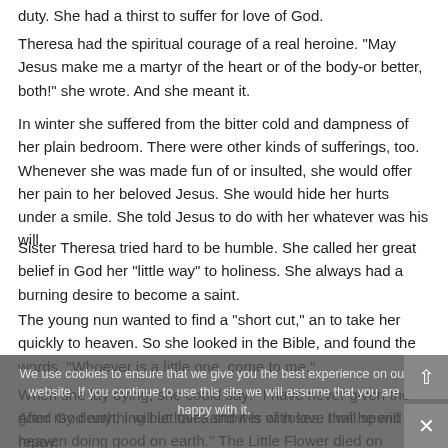duty. She had a thirst to suffer for love of God.
Theresa had the spiritual courage of a real heroine. "May Jesus make me a martyr of the heart or of the body-or better, both!" she wrote. And she meant it.
In winter she suffered from the bitter cold and dampness of her plain bedroom. There were other kinds of sufferings, too. Whenever she was made fun of or insulted, she would offer her pain to her beloved Jesus. She would hide her hurts under a smile. She told Jesus to do with her whatever was his will.
Sister Theresa tried hard to be humble. She called her great belief in God her "little way" to holiness. She always had a burning desire to become a saint.
The young nun wanted to find a "short cut," an to take her quickly to heaven. So she looked in the Bible, and found the words, "Whoever is a little one, come to me."
When she lay dying, she could say: "I have never given the good God anything but love, and it is with love that he will repay.
After my death, I will let fall a shower of roses. I will spend my heaven doing good on earth." The Little Flower died on September